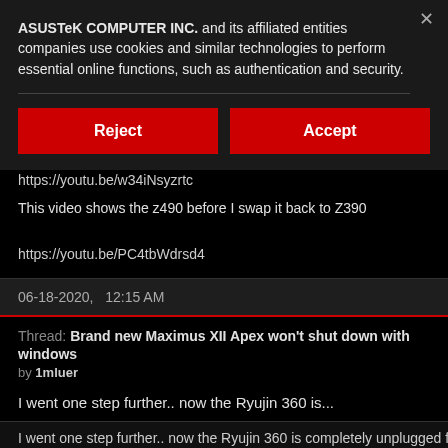ASUSTeK COMPUTER INC. and its affiliated entities companies use cookies and similar technologies to perform essential online functions, such as authentication and security.
Reject
Accept
https://youtu.be/w34iNsyzrtc
This video shows the z490 before I swap it back to Z390
https://youtu.be/PC4tbWdrsd4
06-18-2020,   12:15 AM
Thread: Brand new Maximus XII Apex won't shut down with windows
by 1mluer
I went one step further.. now the Ryujin 360 is...
I went one step further.. now the Ryujin 360 is completely unplugged from po